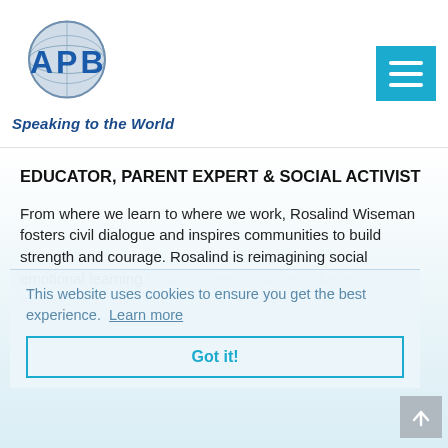[Figure (logo): APB Speaking to the World logo with globe graphic and blue text]
EDUCATOR, PARENT EXPERT & SOCIAL ACTIVIST
From where we learn to where we work, Rosalind Wiseman fosters civil dialogue and inspires communities to build strength and courage. Rosalind is reimagining social emotional learning for all: so we can all be in better relationships with each other.
This website uses cookies to ensure you get the best experience. Learn more
Got it!